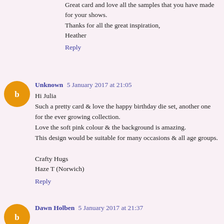Great card and love all the samples that you have made for your shows.
Thanks for all the great inspiration,
Heather
Reply
Unknown 5 January 2017 at 21:05
Hi Julia
Such a pretty card & love the happy birthday die set, another one for the ever growing collection.
Love the soft pink colour & the background is amazing.
This design would be suitable for many occasions & all age groups.

Crafty Hugs
Haze T (Norwich)
Reply
Dawn Holben 5 January 2017 at 21:37